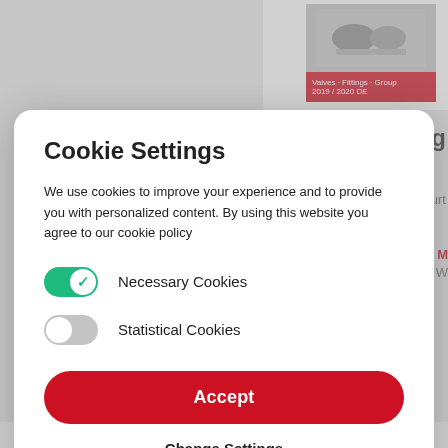Cookie Settings
We use cookies to improve your experience and to provide you with personalized content. By using this website you agree to our cookie policy
Necessary Cookies
Statistical Cookies
Accept
Change Settings
New Products and Solutions